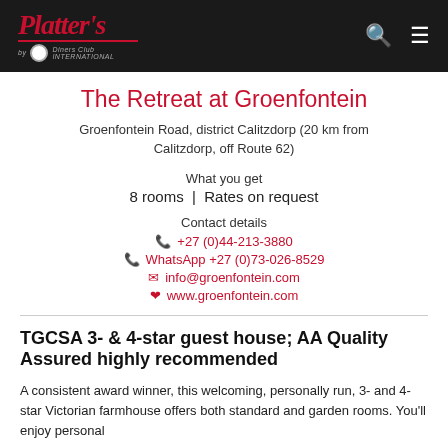Platters by Diners Club International
The Retreat at Groenfontein
Groenfontein Road, district Calitzdorp (20 km from Calitzdorp, off Route 62)
What you get
8 rooms  |  Rates on request
Contact details
+27 (0)44-213-3880
WhatsApp +27 (0)73-026-8529
info@groenfontein.com
www.groenfontein.com
TGCSA 3- & 4-star guest house; AA Quality Assured highly recommended
A consistent award winner, this welcoming, personally run, 3- and 4-star Victorian farmhouse offers both standard and garden rooms. You'll enjoy personal